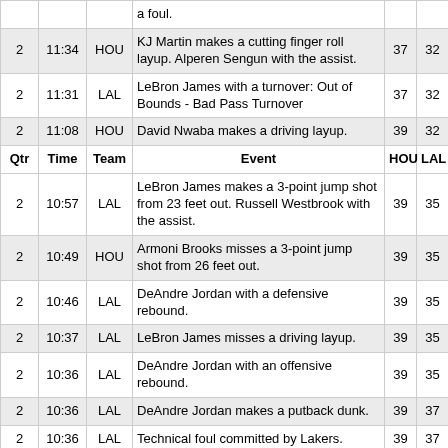| Qtr | Time | Team | Event | HOU | LAL |
| --- | --- | --- | --- | --- | --- |
|  |  |  | a foul. |  |  |
| 2 | 11:34 | HOU | KJ Martin makes a cutting finger roll layup. Alperen Sengun with the assist. | 37 | 32 |
| 2 | 11:31 | LAL | LeBron James with a turnover: Out of Bounds - Bad Pass Turnover | 37 | 32 |
| 2 | 11:08 | HOU | David Nwaba makes a driving layup. | 39 | 32 |
| Qtr | Time | Team | Event | HOU | LAL |
| 2 | 10:57 | LAL | LeBron James makes a 3-point jump shot from 23 feet out. Russell Westbrook with the assist. | 39 | 35 |
| 2 | 10:49 | HOU | Armoni Brooks misses a 3-point jump shot from 26 feet out. | 39 | 35 |
| 2 | 10:46 | LAL | DeAndre Jordan with a defensive rebound. | 39 | 35 |
| 2 | 10:37 | LAL | LeBron James misses a driving layup. | 39 | 35 |
| 2 | 10:36 | LAL | DeAndre Jordan with an offensive rebound. | 39 | 35 |
| 2 | 10:36 | LAL | DeAndre Jordan makes a putback dunk. | 39 | 37 |
| 2 | 10:36 | LAL | Technical foul committed by Lakers. | 39 | 37 |
| 2 | 10:36 | HOU | D.J. Augustin makes free throw technical. | 40 | 37 |
| 2 | 10:26 | HOU | Alperen Sengun with a turnover: Out of Bounds - Bad Pass Turnover | 40 | 37 |